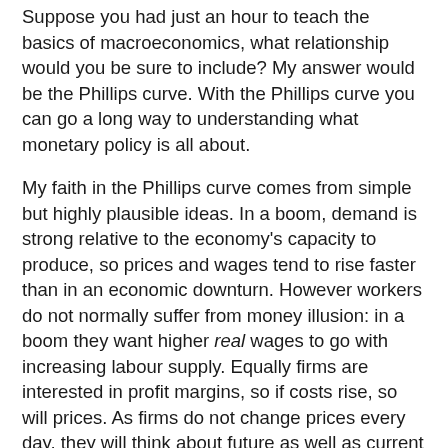Suppose you had just an hour to teach the basics of macroeconomics, what relationship would you be sure to include? My answer would be the Phillips curve. With the Phillips curve you can go a long way to understanding what monetary policy is all about.
My faith in the Phillips curve comes from simple but highly plausible ideas. In a boom, demand is strong relative to the economy's capacity to produce, so prices and wages tend to rise faster than in an economic downturn. However workers do not normally suffer from money illusion: in a boom they want higher real wages to go with increasing labour supply. Equally firms are interested in profit margins, so if costs rise, so will prices. As firms do not change prices every day, they will think about future as well as current costs. That means that inflation depends on expected inflation as well as some indicator of excess demand, like unemployment.
Microfoundations confirm this logic, but add a crucial point that is not immediately obvious. Inflation today will depend on expectations about inflation in the future, not expectations about current inflation. That is the major contribution of New Keynesian theory to macroeconomics.